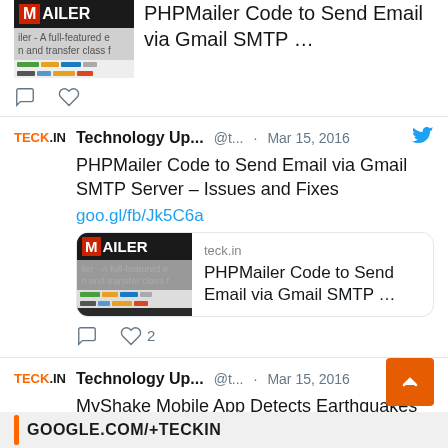[Figure (screenshot): Partial tweet card at top showing link preview with PHPMailer image and title 'PHPMailer Code to Send Email via Gmail SMTP ...']
PHPMailer Code to Send Email via Gmail SMTP …
Technology Up... @t... · Mar 15, 2016
PHPMailer Code to Send Email via Gmail SMTP Server – Issues and Fixes
goo.gl/fb/Jk5C6a
[Figure (screenshot): Link preview card showing PHPMailer logo and title 'PHPMailer Code to Send Email via Gmail SMTP ...' with teck.in site label]
♡ 2
Technology Up... @t... · Mar 15, 2016
MyShake Mobile App Detects Earthquakes
GOOGLE.COM/+TECKIN